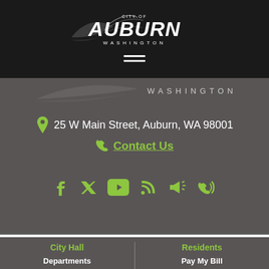[Figure (logo): City of Auburn Washington logo with white swoosh graphic and text in dark header]
[Figure (illustration): Hamburger menu icon (three horizontal white lines) below logo]
WASHINGTON
25 W Main Street, Auburn, WA 98001
Contact Us
[Figure (infographic): Social media icons row: Facebook, Twitter, YouTube, RSS, Megaphone/alert, Phone with waves]
City Hall
Departments
Residents
Pay My Bill